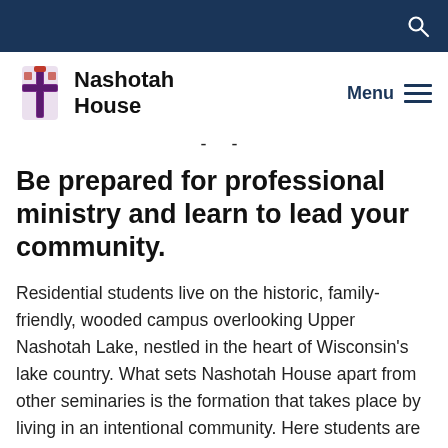[Figure (logo): Nashotah House logo with cross emblem and text 'Nashotah House']
Be prepared for professional ministry and learn to lead your community.
Residential students live on the historic, family-friendly, wooded campus overlooking Upper Nashotah Lake, nestled in the heart of Wisconsin's lake country. What sets Nashotah House apart from other seminaries is the formation that takes place by living in an intentional community. Here students are invited